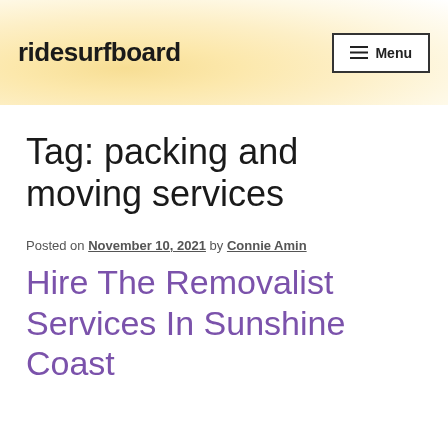ridesurfboard  Menu
Tag: packing and moving services
Posted on November 10, 2021 by Connie Amin
Hire The Removalist Services In Sunshine Coast